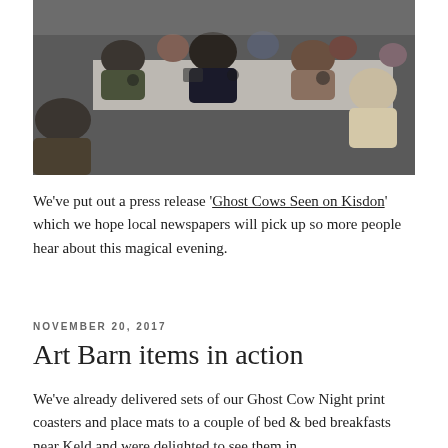[Figure (photo): People sitting around a long table at a meeting, viewed from above and behind. Several participants visible in warm indoor lighting.]
We've put out a press release 'Ghost Cows Seen on Kisdon' which we hope local newspapers will pick up so more people hear about this magical evening.
NOVEMBER 20, 2017
Art Barn items in action
We've already delivered sets of our Ghost Cow Night print coasters and place mats to a couple of bed & bed breakfasts near Keld and were delighted to see them in